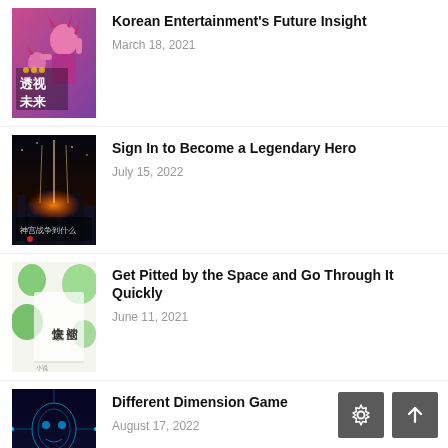[Figure (illustration): Anime-style manga cover with pink-haired girl and Chinese characters 透视未来]
Korean Entertainment's Future Insight
March 18, 2021
[Figure (illustration): Dark cityscape with orange light and Chinese characters]
Sign In to Become a Legendary Hero
July 15, 2022
[Figure (illustration): White and green book cover with Chinese characters 被空间坑去快穿]
Get Pitted by the Space and Go Through It Quickly
June 11, 2021
[Figure (illustration): Dark futuristic game cover with Chinese characters 异次元游戏]
Different Dimension Game
August 17, 2022